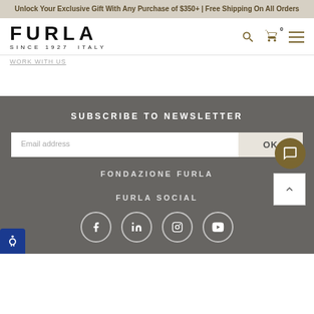Unlock Your Exclusive Gift With Any Purchase of $350+ | Free Shipping On All Orders
[Figure (logo): Furla logo with text FURLA SINCE 1927 ITALY]
WORK WITH US
SUBSCRIBE TO NEWSLETTER
Email address
OK
FONDAZIONE FURLA
FURLA SOCIAL
[Figure (illustration): Social media icons: Facebook, LinkedIn, Instagram, YouTube in white circles on dark grey background]